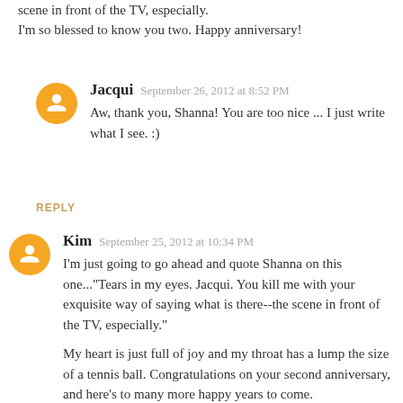scene in front of the TV, especially.
I'm so blessed to know you two. Happy anniversary!
Jacqui  September 26, 2012 at 8:52 PM
Aw, thank you, Shanna! You are too nice ... I just write what I see. :)
REPLY
Kim  September 25, 2012 at 10:34 PM
I'm just going to go ahead and quote Shanna on this one..."Tears in my eyes. Jacqui. You kill me with your exquisite way of saying what is there--the scene in front of the TV, especially."
My heart is just full of joy and my throat has a lump the size of a tennis ball. Congratulations on your second anniversary, and here's to many more happy years to come.
xo